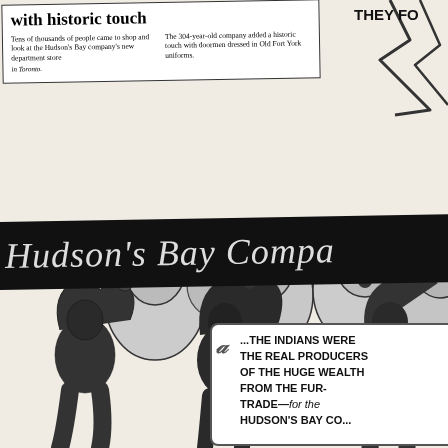[Figure (illustration): Black and white woodcut/cartoon illustration. Top portion shows money bags with currency symbols ($, £) being carried. Middle section shows a large dark banner reading 'Hudson's Bay Compa...' being held aloft by figures (depicting Indigenous people). Bottom portion shows figures straining under the weight. A newspaper clipping (top-left) references Hudson's Bay Company new store opening with historic touch. Speech bubble top-right reads 'THEY FO...'. A scroll caption bottom-center reads '...THE INDIANS WERE THE REAL PRODUCERS OF THE HUGE WEALTH FROM THE FUR-TRADE—for the Hudson's Bay Co...']
New [store opens] with historic touch. Tens of thousands of people came to shop and look at the Hudson's Bay company's new department store in Toronto. The 304-year-old company added a historic touch with doormen dressed in Old Fort York uniforms.
THEY FO[RMED]...
Hudson's Bay Compa[ny]
...THE INDIANS WERE THE REAL PRODUCERS OF THE HUGE WEALTH FROM THE FUR-TRADE—for the HUDSON'S BAY CO...